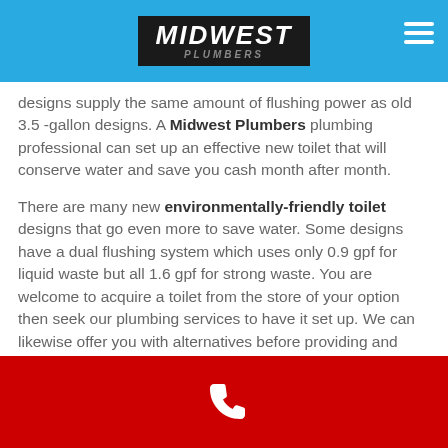[Figure (logo): Midwest Plumbers logo on blue header bar with hamburger menu icon]
designs supply the same amount of flushing power as old 3.5 -gallon designs. A Midwest Plumbers plumbing professional can set up an effective new toilet that will conserve water and save you cash month after month.
There are many new environmentally-friendly toilet designs that go even more to save water. Some designs have a dual flushing system which uses only 0.9 gpf for liquid waste but all 1.6 gpf for strong waste. You are welcome to acquire a toilet from the store of your option then seek our plumbing services to have it set up. We can likewise offer you with alternatives before providing and installing the toilet you desire.
[Figure (illustration): Red footer bar with white phone icon]